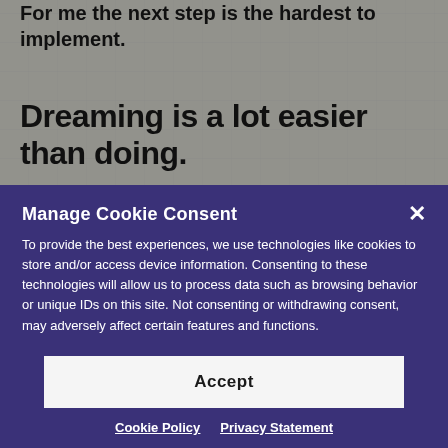For me the next step is the hardest to implement.
Dreaming is a lot easier than doing.
Everything I do should be advancing me toward
Manage Cookie Consent
To provide the best experiences, we use technologies like cookies to store and/or access device information. Consenting to these technologies will allow us to process data such as browsing behavior or unique IDs on this site. Not consenting or withdrawing consent, may adversely affect certain features and functions.
Accept
Cookie Policy   Privacy Statement